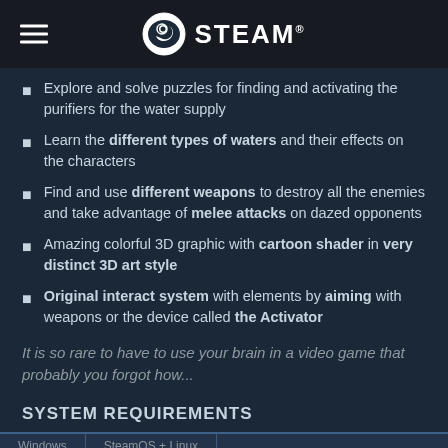STEAM®
Explore and solve puzzles for finding and activating the purifiers for the water supply
Learn the different types of waters and their effects on the characters
Find and use different weapons to destroy all the enemies and take advantage of melee attacks on dazed opponents
Amazing colorful 3D graphic with cartoon shader in very distinct 3D art style
Original interact system with elements by aiming with weapons or the device called the Activator
It is so rare to have to use your brain in a video game that probably you forgot how...
SYSTEM REQUIREMENTS